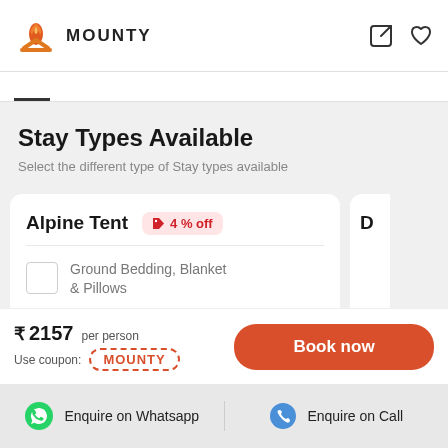MOUNTY
Stay Types Available
Select the different type of Stay types available
Alpine Tent  4 % off
Ground Bedding, Blanket & Pillows
₹ 2157 per person
Use coupon: MOUNTY
Enquire on Whatsapp    Enquire on Call